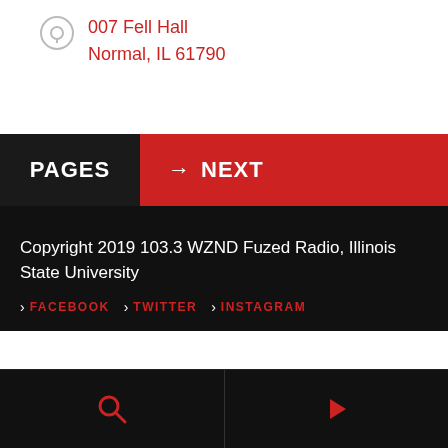007 Fell Hall
Normal, IL 61790
PAGES  → NEXT
Copyright 2019 103.3 WZND Fuzed Radio, Illinois State University
> FACEBOOK  > TWITTER  > INSTAGRAM